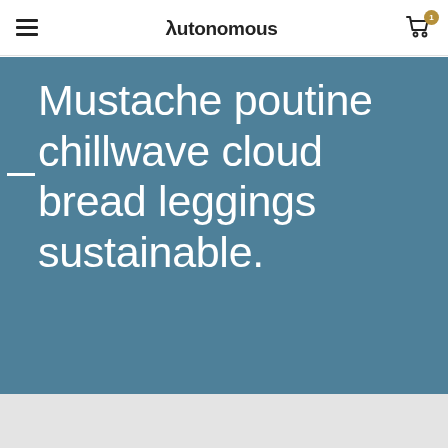λutonomous
Mustache poutine chillwave cloud bread leggings sustainable.